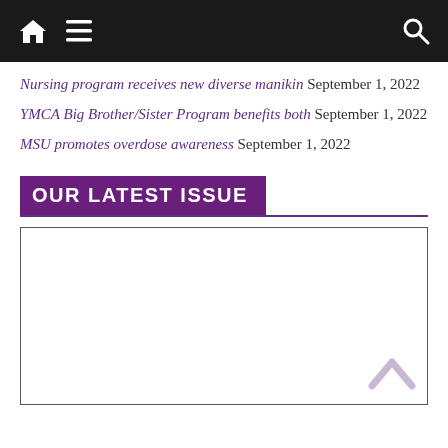Navigation bar with home, menu, and search icons
Nursing program receives new diverse manikin September 1, 2022
YMCA Big Brother/Sister Program benefits both September 1, 2022
MSU promotes overdose awareness September 1, 2022
OUR LATEST ISSUE
[Figure (other): Empty white box with border representing latest issue placeholder, with a back-to-top chevron in the bottom right corner]